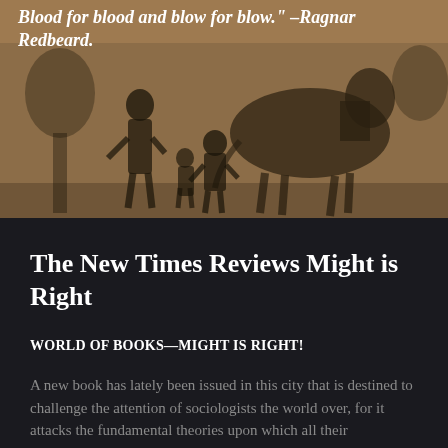Blood for blood and blow for blow." –Ragnar Redbeard.
[Figure (illustration): Historical pen-and-ink illustration showing several figures in period dress with a horse in the background, rendered in dark tones against a tan/brown background.]
The New Times Reviews Might is Right
WORLD OF BOOKS—MIGHT IS RIGHT!
A new book has lately been issued in this city that is destined to challenge the attention of sociologists the world over, for it attacks the fundamental theories upon which all their